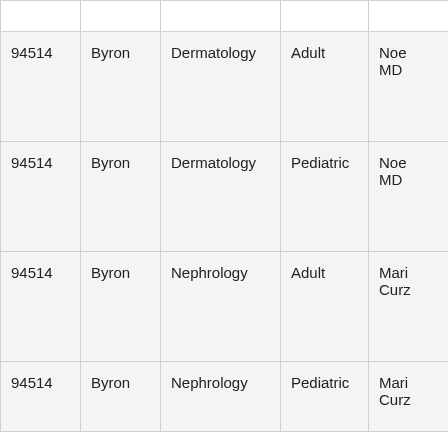| (zip) | (city) | (specialty) | (age group) | (provider) |
| --- | --- | --- | --- | --- |
| 94514 | Byron | Dermatology | Adult | Noe...
MD |
| 94514 | Byron | Dermatology | Pediatric | Noe...
MD |
| 94514 | Byron | Nephrology | Adult | Mari...
Curz... |
| 94514 | Byron | Nephrology | Pediatric | Mari...
Curz... |